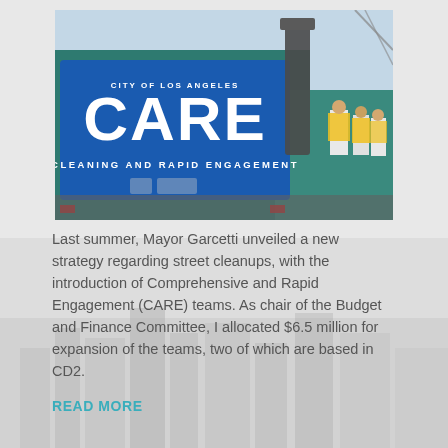[Figure (photo): A teal/green garbage truck with a large blue sign on the side reading 'CITY OF LOS ANGELES CARE CLEANING AND RAPID ENGAGEMENT' with city logos. Workers in yellow vests visible in background.]
Last summer, Mayor Garcetti unveiled a new strategy regarding street cleanups, with the introduction of Comprehensive and Rapid Engagement (CARE) teams. As chair of the Budget and Finance Committee, I allocated $6.5 million for expansion of the teams, two of which are based in CD2.
READ MORE